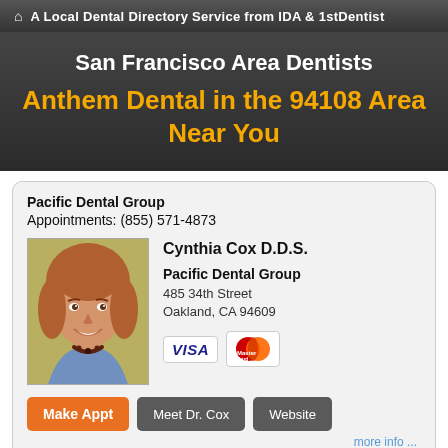A Local Dental Directory Service from IDA & 1stDentist
San Francisco Area Dentists
Anthem Dental in the 94108 Area Near You
Pacific Dental Group
Appointments: (855) 571-4873
[Figure (photo): Photo of Cynthia Cox D.D.S., a woman with reddish-brown hair, smiling, wearing a blue top and beaded necklace]
Cynthia Cox D.D.S.
Pacific Dental Group
485 34th Street
Oakland, CA 94609
[Figure (other): VISA and MasterCard payment icons]
Make Appt   Meet Dr. Cox   Website
more info ...